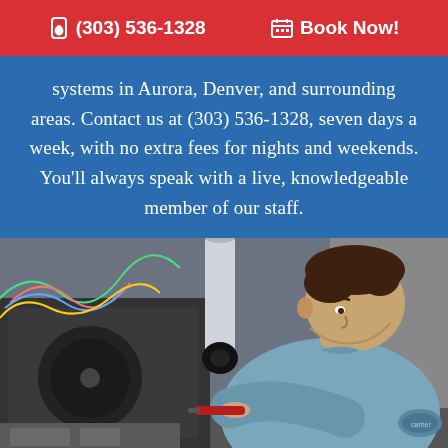☎ (303) 536-1328   📅 Book Now!
systems in Aurora, Denver, and surrounding areas. Contact us at (303) 536-1328, seven days a week, with no extra fees for nights and weekends. You'll always speak with a live, knowledgeable member of our staff.
[Figure (photo): HVAC technician in a blue uniform shirt leaning over and inspecting/servicing a furnace or HVAC unit with a flashlight/tool.]